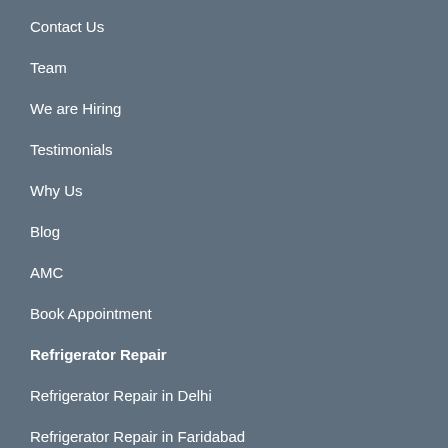Contact Us
Team
We are Hiring
Testimonials
Why Us
Blog
AMC
Book Appointment
Refrigerator Repair
Refrigerator Repair in Delhi
Refrigerator Repair in Faridabad